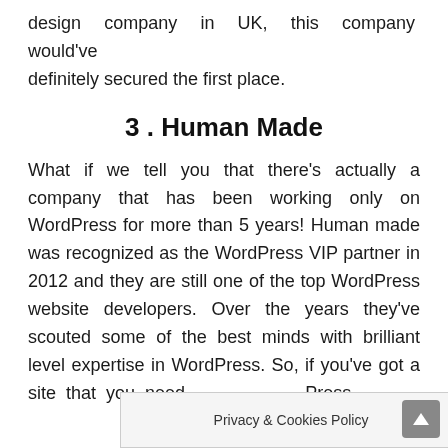design company in UK, this company would've definitely secured the first place.
3 . Human Made
What if we tell you that there's actually a company that has been working only on WordPress for more than 5 years! Human made was recognized as the WordPress VIP partner in 2012 and they are still one of the top WordPress website developers. Over the years they've scouted some of the best minds with brilliant level expertise in WordPress. So, if you've got a site that you need … Press,
Privacy & Cookies Policy